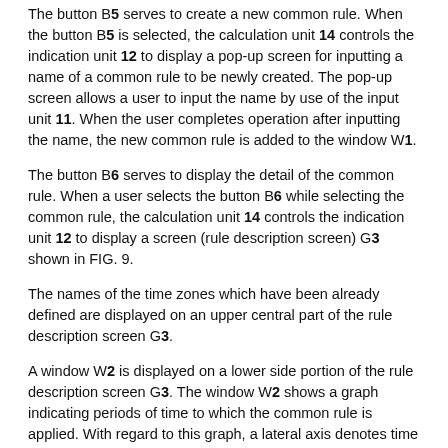The button B5 serves to create a new common rule. When the button B5 is selected, the calculation unit 14 controls the indication unit 12 to display a pop-up screen for inputting a name of a common rule to be newly created. The pop-up screen allows a user to input the name by use of the input unit 11. When the user completes operation after inputting the name, the new common rule is added to the window W1.
The button B6 serves to display the detail of the common rule. When a user selects the button B6 while selecting the common rule, the calculation unit 14 controls the indication unit 12 to display a screen (rule description screen) G3 shown in FIG. 9.
The names of the time zones which have been already defined are displayed on an upper central part of the rule description screen G3.
A window W2 is displayed on a lower side portion of the rule description screen G3. The window W2 shows a graph indicating periods of time to which the common rule is applied. With regard to this graph, a lateral axis denotes time (00:00 to 24:00), and a vertical axis denotes a day of the week (Sunday to Saturday). In FIG. 7, the three time zones, that is, early morning (weekday), nighttime (weekday), and lunch break are set. Further, in FIG. 7, a strip part (hereinafter referred to as "cell") corresponding to a period of time included in the time zone in the graph is represented with hatching.
The buttons B11 to B14 are displayed on a right side portion of the rule